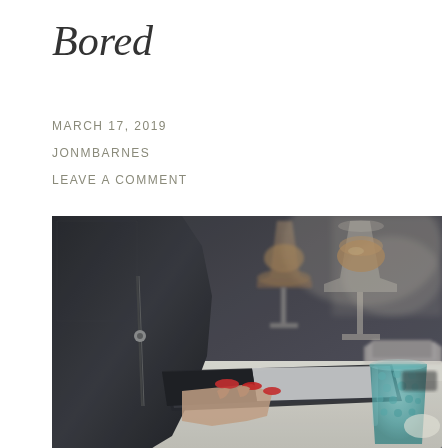Bored
MARCH 17, 2019
JONMBARNES
LEAVE A COMMENT
[Figure (photo): A woman in a black leather jacket with red nails holding a black book/tablet on a white table, with a teal textured glass and two wine glasses with amber liquid in the background, along with books/magazines. The scene is set in a cafe or restaurant.]